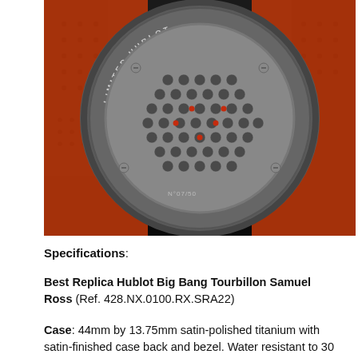[Figure (photo): Close-up photo of the case back of a Hublot Big Bang Tourbillon Samuel Ross limited edition watch. The watch has a bright orange rubber strap and a satin-finished titanium case back with a honeycomb-patterned skeleton dial visible through the sapphire crystal. The bezel reads LIMITED HUBLOT BIG BANG EDITION around the perimeter. The background is dark/black.]
Specifications:
Best Replica Hublot Big Bang Tourbillon Samuel Ross (Ref. 428.NX.0100.RX.SRA22)
Case: 44mm by 13.75mm satin-polished titanium with satin-finished case back and bezel. Water resistant to 30 meters.